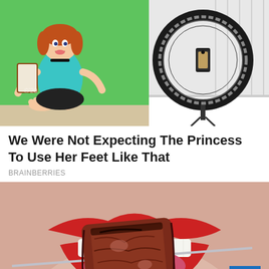[Figure (photo): Top composite image: left side shows an animated Disney-style princess character sitting at a desk with a green background, using her feet; right side shows a ring light with a smartphone holder on a white desk surface.]
We Were Not Expecting The Princess To Use Her Feet Like That
BRAINBERRIES
[Figure (photo): Close-up photo of a woman's open mouth with bright red lipstick, biting a piece of grilled/seared steak on a metal skewer. A blue scroll-to-top arrow button is overlaid in the bottom right corner.]